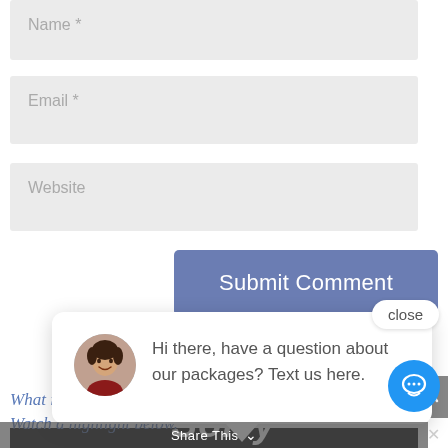Name *
Email *
Website
Submit Comment
close
[Figure (screenshot): Chat popup overlay with avatar photo of a woman, text: 'Hi there, have a question about our packages? Text us here.']
Hi there, have a question about our packages? Text us here.
What is a W... Watch a highlight below.
[Figure (screenshot): Share This bar and Sorry text overlaid on dark video area, with chat icon button and close X]
Share This
Sorry